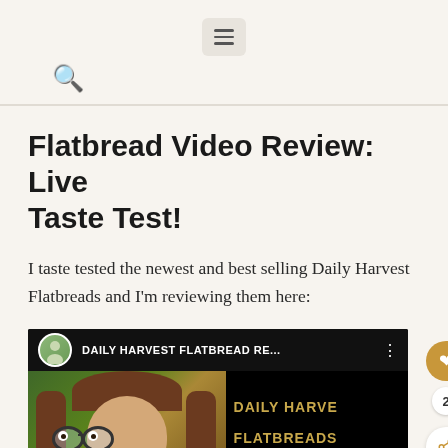≡ (menu icon) and search icon
Flatbread Video Review: Live Taste Test!
I taste tested the newest and best selling Daily Harvest Flatbreads and I'm reviewing them here:
[Figure (screenshot): Video thumbnail showing a woman with glasses and long hair looking surprised, with text overlay 'DAILY HARVEST FLATBREAD RE...' in the top bar, and 'DAILY HARVE FLATBREADS' in golden text on the right side. A circular avatar icon is visible in the top-left of the video bar. Action buttons (heart, count 2, share) are on the right edge.]